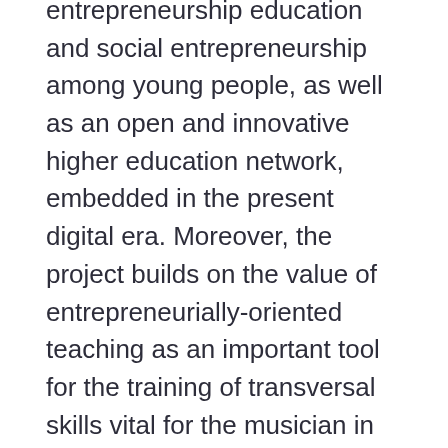The project prioritizes the promotion of entrepreneurship education and social entrepreneurship among young people, as well as an open and innovative higher education network, embedded in the present digital era. Moreover, the project builds on the value of entrepreneurially-oriented teaching as an important tool for the training of transversal skills vital for the musician in the 21st century, such as team working, peer-learning and reflective practice. These skills will prepare musicians to be effective entrepreneurial practitioners in their future portfolio careers which, although rooted in music, may embrace other domains of activity.
By addressing teaching and learning from an entrepreneurial perspective, learning of...